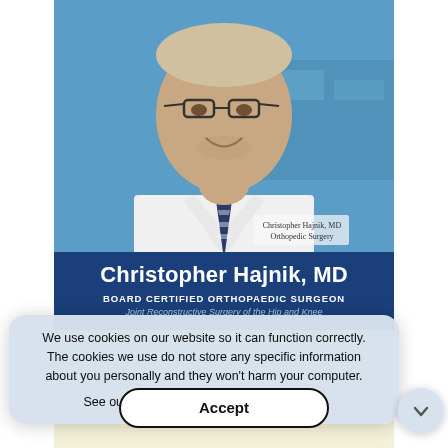[Figure (photo): Professional headshot of Dr. Christopher Hajnik, MD wearing a white lab coat with name badge reading 'Christopher Hajnik, MD / Orthopedic Surgery' and a striped tie, photographed against a blue medical background]
Christopher Hajnik, MD
BOARD CERTIFIED ORTHOPAEDIC SURGEON
Joint Reconstructive Surgery of the Hip and Knee
We use cookies on our website so it can function correctly. The cookies we use do not store any specific information about you personally and they won't harm your computer.
See our privacy policy for more information.
Accept
Patient Resources